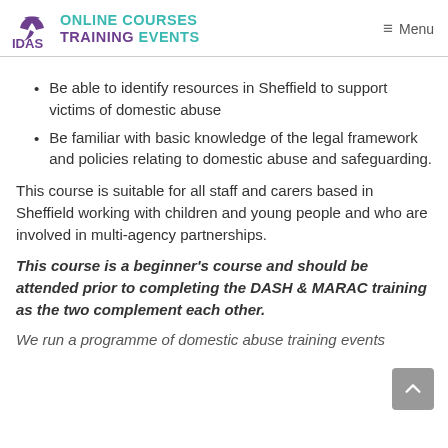IDAS ONLINE COURSES TRAINING EVENTS — Menu
Be able to identify resources in Sheffield to support victims of domestic abuse
Be familiar with basic knowledge of the legal framework and policies relating to domestic abuse and safeguarding.
This course is suitable for all staff and carers based in Sheffield working with children and young people and who are involved in multi-agency partnerships.
This course is a beginner's course and should be attended prior to completing the DASH & MARAC training as the two complement each other.
We run a programme of domestic abuse training events